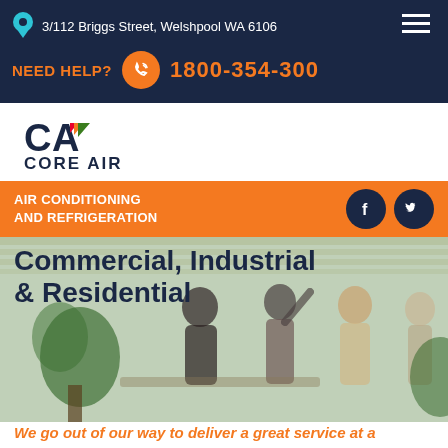3/112 Briggs Street, Welshpool WA 6106
NEED HELP?  1800-354-300
[Figure (logo): Core Air logo with stylized CA letters and coloured chevrons, with text CORE AIR below in blue]
AIR CONDITIONING AND REFRIGERATION
[Figure (photo): Office meeting scene with several people standing and talking in a bright windowed room with plants]
Commercial, Industrial & Residential
We go out of our way to deliver a great service at a great price, whether you need a new unit or maintenance on your old one.
Keep Up With Your Programmed Air Conditioner Maintenance